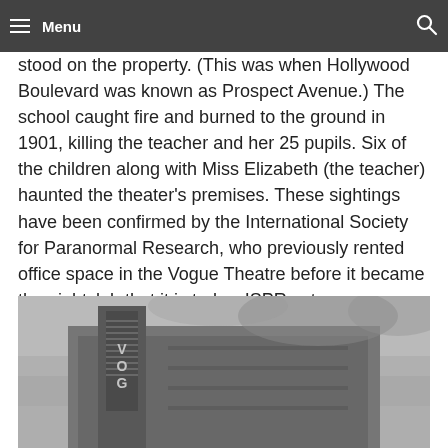Menu
stood on the property. (This was when Hollywood Boulevard was known as Prospect Avenue.) The school caught fire and burned to the ground in 1901, killing the teacher and her 25 pupils. Six of the children along with Miss Elizabeth (the teacher) haunted the theater's premises. These sightings have been confirmed by the International Society for Paranormal Research, who previously rented office space in the Vogue Theatre before it became the nightclub that it is today. ISPR set up headquarters in the building and remodeled it. Part of their remodeling work included clearing out all the ghosts!
[Figure (photo): Black and white photograph of the Vogue Theatre building exterior with signage visible, shot against a misty/foggy sky]